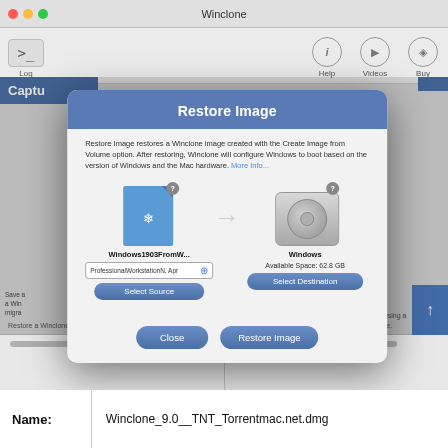[Figure (screenshot): Winclone 9.0 macOS application screenshot showing the Restore Image dialog. The dialog has a blue header titled 'Restore Image', description text, source file icon labeled 'Windows1903FromW...' with a dropdown showing 'ProfessionalWorkstationN, Apr 1, 201...' and a 'Select Source' button, an arrow pointing to a hard drive icon labeled 'Windows' with 'Available Space: 62.8 GB' and a 'Select Destination' button, and two footer buttons 'Close' and 'Restore Image'. Background shows the main Winclone window with 'Captu' and 'Resto' section headers and text about restore and deploy functionality.]
| Name: |  |
| --- | --- |
| Name: | Winclone_9.0__TNT_Torrentmac.net.dmg |